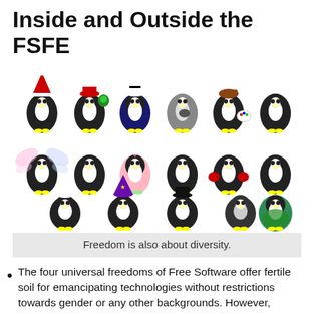Inside and Outside the FSFE
[Figure (illustration): A grid of diverse cartoon Linux Tux penguin characters in various costumes and styles representing diversity — fairy, pirate, chef, wizard, turtle, and many more.]
Freedom is also about diversity.
The four universal freedoms of Free Software offer fertile soil for emancipating technologies without restrictions towards gender or any other backgrounds. However, women have traditionally been and still are under-represented in those bodies and communities shaping these technologies. It is time to change that. On March 8, the International Women's Day we used the occasion to share the